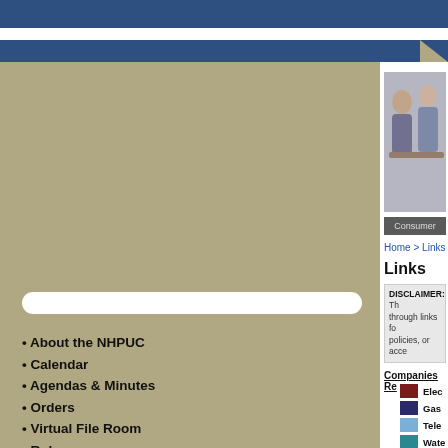NHPUC Website Header
[Figure (photo): Consumer photo showing people in a meeting/consulting setting]
Consumer
Home > Links
Links
DISCLAIMER: The through links fo policies, or acce
Companies Re
Elec
Gas
Tele
Wate
Government Si
New
Othe
About the NHPUC
Calendar
Agendas & Minutes
Orders
Virtual File Room
Rules
Proposed and Interim Rules
Forms
Press Releases
Commission Reports
Request for Proposals
Energy Codes
Employment Opportunities